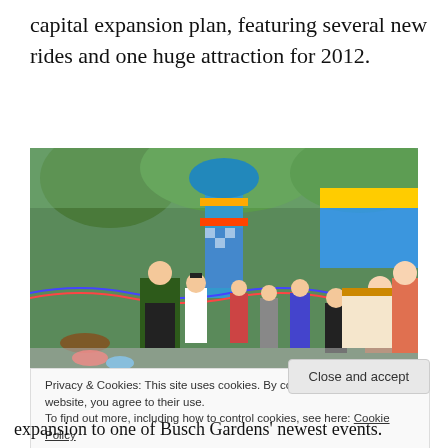capital expansion plan, featuring several new rides and one huge attraction for 2012.
[Figure (photo): A colorful amusement park scene with people in folk costumes and visitors enjoying a festival-style attraction with blue and yellow decorations, banners, and lights.]
Privacy & Cookies: This site uses cookies. By continuing to use this website, you agree to their use.
To find out more, including how to control cookies, see here: Cookie Policy
Close and accept
expansion to one of Busch Gardens' newest events.